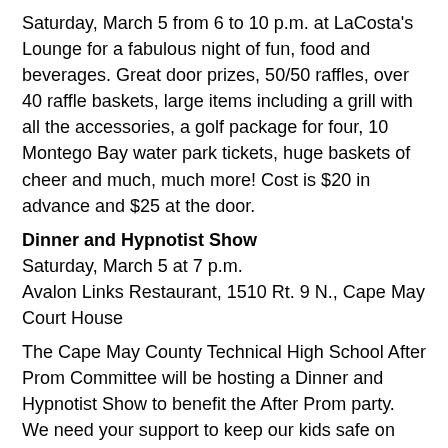Saturday, March 5 from 6 to 10 p.m. at LaCosta's Lounge for a fabulous night of fun, food and beverages. Great door prizes, 50/50 raffles, over 40 raffle baskets, large items including a grill with all the accessories, a golf package for four, 10 Montego Bay water park tickets, huge baskets of cheer and much, much more! Cost is $20 in advance and $25 at the door.
Dinner and Hypnotist Show
Saturday, March 5 at 7 p.m.
Avalon Links Restaurant, 1510 Rt. 9 N., Cape May Court House
The Cape May County Technical High School After Prom Committee will be hosting a Dinner and Hypnotist Show to benefit the After Prom party. We need your support to keep our kids safe on prom night. We provide a safe, alcohol and drug-free environment where the kids and their guests can have fun and be safe. Cost is $20 in advance, $25 at the door. For more information and to purchase tickets, call (609) 408-2061 or email